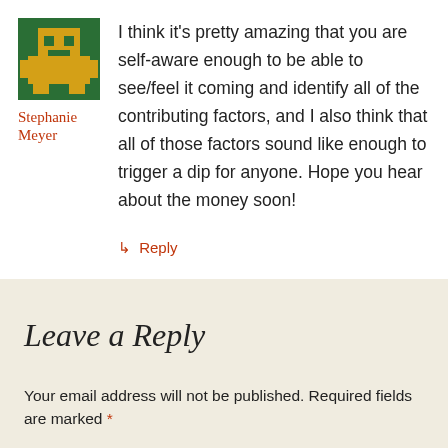[Figure (illustration): Pixel art avatar icon showing a yellow/gold arcade-style robot or character on a green background, in a square format.]
Stephanie Meyer
I think it's pretty amazing that you are self-aware enough to be able to see/feel it coming and identify all of the contributing factors, and I also think that all of those factors sound like enough to trigger a dip for anyone. Hope you hear about the money soon!
↳ Reply
Leave a Reply
Your email address will not be published. Required fields are marked *